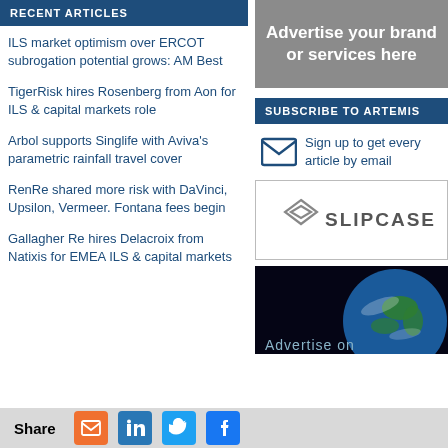RECENT ARTICLES
ILS market optimism over ERCOT subrogation potential grows: AM Best
TigerRisk hires Rosenberg from Aon for ILS & capital markets role
Arbol supports Singlife with Aviva's parametric rainfall travel cover
RenRe shared more risk with DaVinci, Upsilon, Vermeer. Fontana fees begin
Gallagher Re hires Delacroix from Natixis for EMEA ILS & capital markets
[Figure (other): Grey advertisement box reading 'Advertise your brand or services here']
SUBSCRIBE TO ARTEMIS
Sign up to get every article by email
[Figure (logo): Slipcase logo in a white bordered box]
[Figure (photo): Earth from space with dark background and partial text 'Advertise on' at bottom]
Share